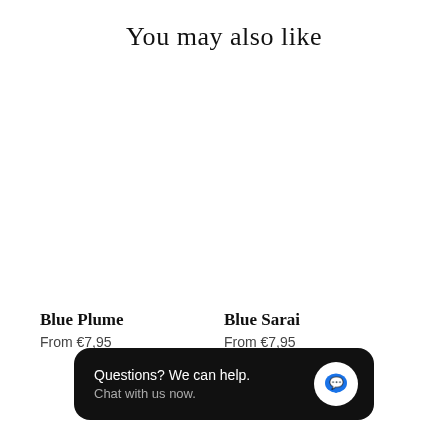You may also like
Blue Plume
From €7,95
Blue Sarai
From €7,95
Questions? We can help. Chat with us now.